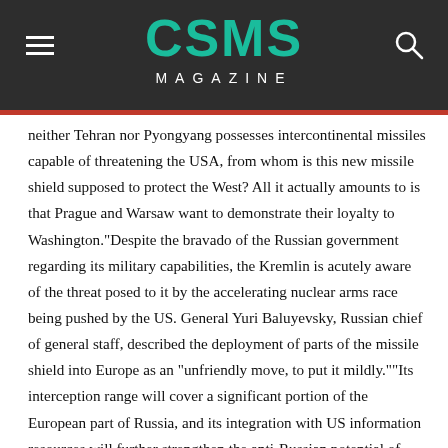CSMS MAGAZINE
neither Tehran nor Pyongyang possesses intercontinental missiles capable of threatening the USA, from whom is this new missile shield supposed to protect the West? All it actually amounts to is that Prague and Warsaw want to demonstrate their loyalty to Washington.“Despite the bravado of the Russian government regarding its military capabilities, the Kremlin is acutely aware of the threat posed to it by the accelerating nuclear arms race being pushed by the US. General Yuri Baluyevsky, Russian chief of general staff, described the deployment of parts of the missile shield into Europe as an “unfriendly move, to put it mildly.”“Its interception range will cover a significant portion of the European part of Russia, and its integration with US information resources will further strengthen the anti-Russian potential of this facility. We would be forced to search for countermeasures which would be asymmetrical and clearly much cheaper,” the general said.The Pentagon’s strategic focus in Eastern Europe is the development of a network of military facilities capable of furthering the domination of the US over Eurasia and its vast